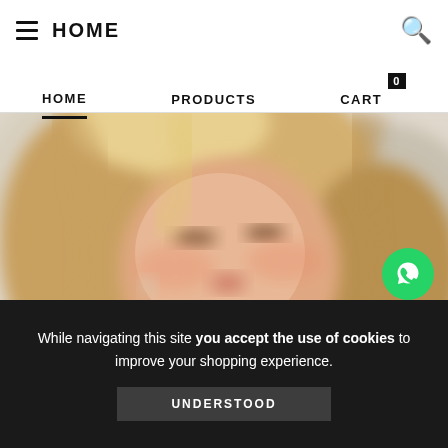HOME
HOME   PRODUCTS   CART 0
[Figure (photo): Blurred close-up photo of a woman with long blonde hair looking downward, soft bokeh background]
While navigating this site you accept the use of cookies to improve your shopping experience.
UNDERSTOOD